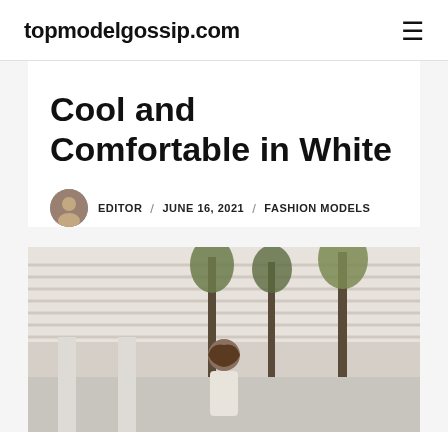topmodelgossip.com
Cool and Comfortable in White
EDITOR / JUNE 16, 2021 / FASHION MODELS
[Figure (photo): Outdoor photo of a woman wearing white outfit and sunglasses, standing in front of a building with trees in the background]